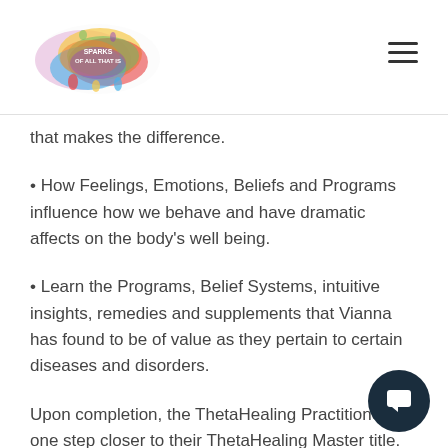SPARKS OF ALL THAT IS [logo]
that makes the difference.
• How Feelings, Emotions, Beliefs and Programs influence how we behave and have dramatic affects on the body's well being.
• Learn the Programs, Belief Systems, intuitive insights, remedies and supplements that Vianna has found to be of value as they pertain to certain diseases and disorders.
Upon completion, the ThetaHealing Practitioner is one step closer to their ThetaHealing Master title.